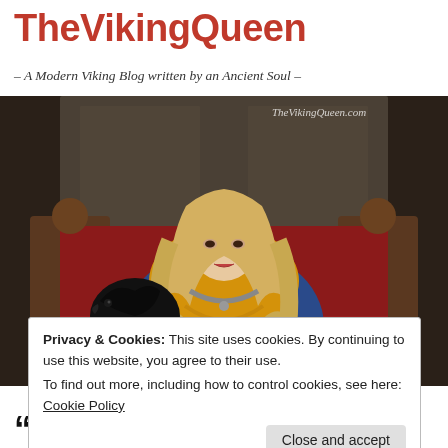TheVikingQueen
– A Modern Viking Blog written by an Ancient Soul –
[Figure (photo): A blonde woman dressed in Viking-style costume with a yellow and blue garment and ornate necklace, seated on a wooden throne-like chair with red cushions, holding a black raven. Watermark reads TheVikingQueen.com.]
Privacy & Cookies: This site uses cookies. By continuing to use this website, you agree to their use.
To find out more, including how to control cookies, see here: Cookie Policy
Close and accept
“2017”